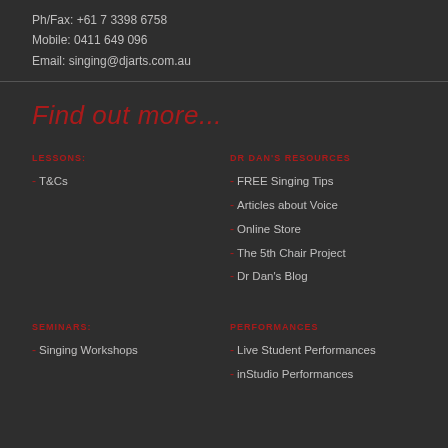Ph/Fax: +61 7 3398 6758
Mobile: 0411 649 096
Email: singing@djarts.com.au
Find out more...
LESSONS:
T&Cs
DR DAN'S RESOURCES
FREE Singing Tips
Articles about Voice
Online Store
The 5th Chair Project
Dr Dan's Blog
SEMINARS:
Singing Workshops
PERFORMANCES
Live Student Performances
inStudio Performances